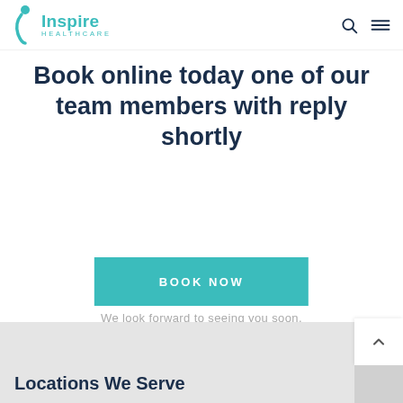Inspire Healthcare
Book online today one of our team members with reply shortly
BOOK NOW
We look forward to seeing you soon.
Locations We Serve